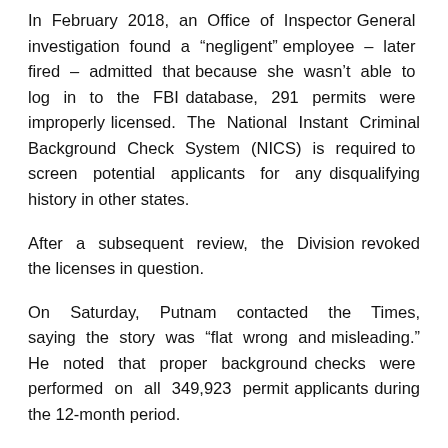In February 2018, an Office of Inspector General investigation found a “negligent” employee – later fired – admitted that because she wasn’t able to log in to the FBI database, 291 permits were improperly licensed. The National Instant Criminal Background Check System (NICS) is required to screen potential applicants for any disqualifying history in other states.
After a subsequent review, the Division revoked the licenses in question.
On Saturday, Putnam contacted the Times, saying the story was “flat wrong and misleading.” He noted that proper background checks were performed on all 349,923 permit applicants during the 12-month period.